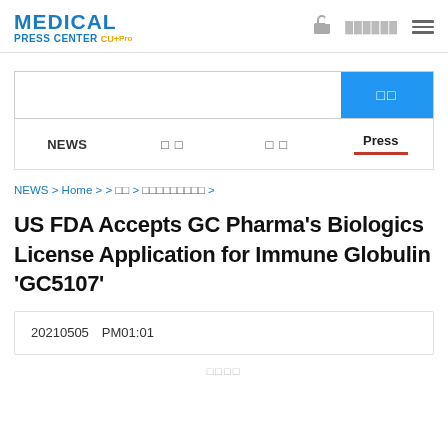MEDICAL PRESS CENTER CU+Pro
NEWS > Home > > 카 > 프레스센터입니다 >
US FDA Accepts GC Pharma's Biologics License Application for Immune Globulin 'GC5107'
2021년05월05일  PM01:01
추천하기